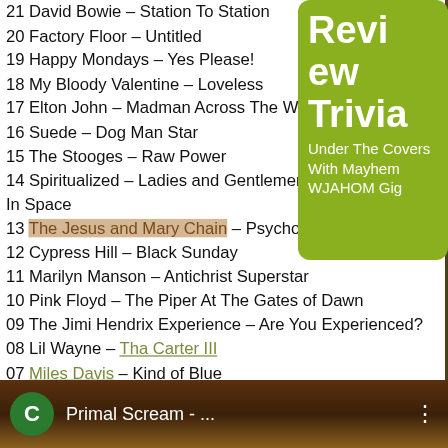21 David Bowie – Station To Station
20 Factory Floor – Untitled
19 Happy Mondays – Yes Please!
18 My Bloody Valentine – Loveless
17 Elton John – Madman Across The Water
16 Suede – Dog Man Star
15 The Stooges – Raw Power
14 Spiritualized – Ladies and Gentlemen We Are Floating In Space
13 The Jesus and Mary Chain – Psychocandy
12 Cypress Hill – Black Sunday
11 Marilyn Manson – Antichrist Superstar
10 Pink Floyd – The Piper At The Gates of Dawn
09 The Jimi Hendrix Experience – Are You Experienced?
08 Lil Wayne – Tha Carter III
07 Miles Davis – Kind of Blue
06 The Beatles – Revolver
05 Nirvana – In Utero
04 Sly and the Family Stone – There's A Riot Goin' On
03 The Velvet Underground – White Light/White Heat
02 The Rolling Stones – Exile on Main St
01 Primal Scream – Screamadelica
Review Trivia
Under The Covers With Mayhem WJAHOM Gig
C  Primal Scream - ...